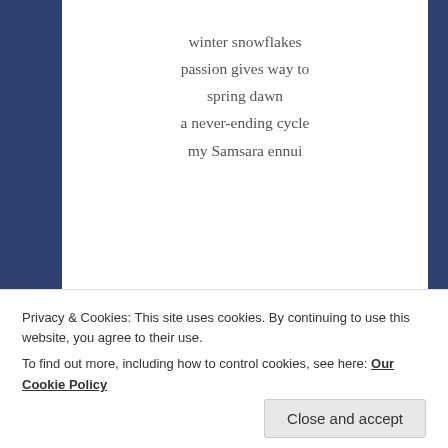winter snowflakes
passion gives way to
spring dawn
a never-ending cycle
my Samsara ennui
SHARE THIS:
[Figure (other): Tweet and Post social sharing buttons]
Privacy & Cookies: This site uses cookies. By continuing to use this website, you agree to their use.
To find out more, including how to control cookies, see here: Our Cookie Policy